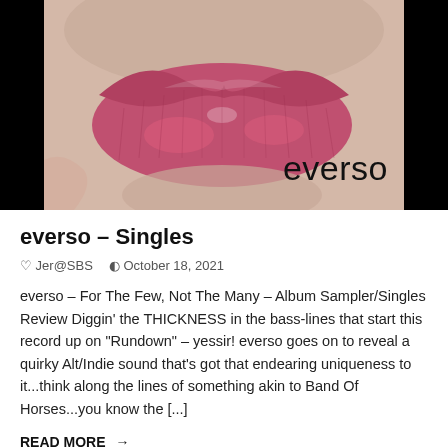[Figure (photo): Close-up photo of lips with pink/red lipstick against a black background, with the word 'everso' overlaid in the lower right area of the image]
everso – Singles
Jer@SBS   October 18, 2021
everso – For The Few, Not The Many – Album Sampler/Singles Review Diggin' the THICKNESS in the bass-lines that start this record up on "Rundown" – yessir!  everso goes on to reveal a quirky Alt/Indie sound that's got that endearing uniqueness to it...think along the lines of something akin to Band Of Horses...you know the [...]
READ MORE →